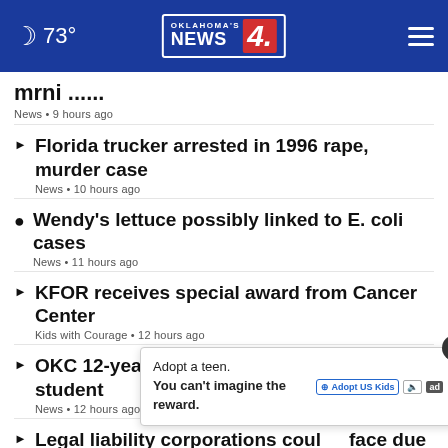73° Oklahoma's News 4
... • News • 9 hours ago
Florida trucker arrested in 1996 rape, murder case
News • 10 hours ago
Wendy's lettuce possibly linked to E. coli cases
News • 11 hours ago
KFOR receives special award from Cancer Center
Kids with Courage • 12 hours ago
OKC 12-year-old becomes youngest college student
News • 12 hours ago
Legal liability corporations could face due to OK
News • ...
Oklahomans urged need car insurance
Adopt a teen. You can't imagine the reward.